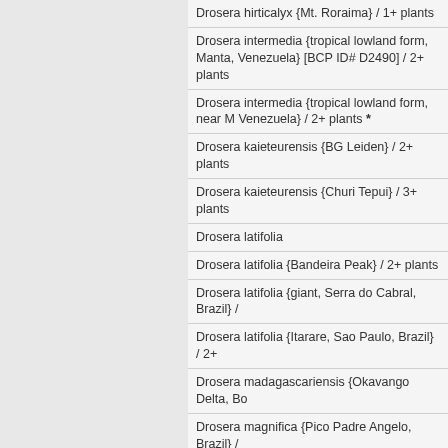Drosera hirticalyx {Mt. Roraima} / 1+ plants
Drosera intermedia {tropical lowland form, Manta, Venezuela} [BCP ID# D2490] / 2+ plants
Drosera intermedia {tropical lowland form, near Manta, Venezuela} / 2+ plants *
Drosera kaieteurensis {BG Leiden} / 2+ plants
Drosera kaieteurensis {Churi Tepui} / 3+ plants
Drosera latifolia
Drosera latifolia {Bandeira Peak} / 2+ plants
Drosera latifolia {giant, Serra do Cabral, Brazil} /
Drosera latifolia {Itarare, Sao Paulo, Brazil} / 2+
Drosera madagascariensis {Okavango Delta, Bo
Drosera magnifica {Pico Padre Angelo, Brazil} / out of in vitro
Drosera magnifica {seedgrown, Pico Padre Ange
Drosera meristocaulis {Cerro Neblina, border Bra plants
Drosera montana var. glabrata {slightly hairy sca MG, Brazil} / 2+ plants
Drosera montana var. schwackei {Diamantina, M Brazil} / 2+ plants
Drosera oblanceolata {true, Hong Kong} / 3+ pla
Drosera pilosa {large form, Zambia} / 2+ plants
Drosera prolifera / 3+ plants
Drosera regia {higher altitude form, Bains Kloof,